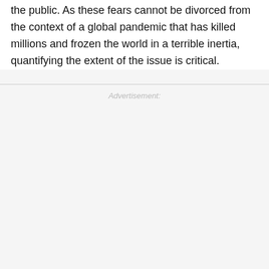the public. As these fears cannot be divorced from the context of a global pandemic that has killed millions and frozen the world in a terrible inertia, quantifying the extent of the issue is critical.
Advertisement: